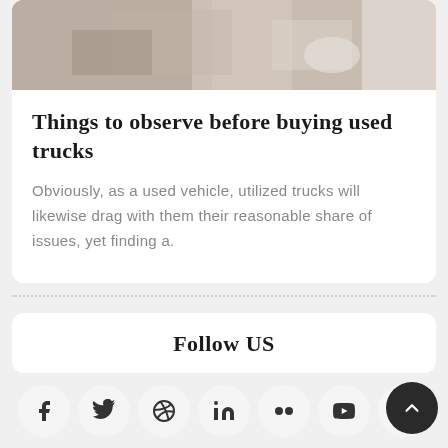[Figure (photo): Partial photo of a person working at a laptop with a coffee cup, cropped at top]
Things to observe before buying used trucks
Obviously, as a used vehicle, utilized trucks will likewise drag with them their reasonable share of issues, yet finding a.
Follow US
[Figure (infographic): Row of social media icons: Facebook, Twitter, Dribbble, LinkedIn, Flickr, YouTube, Instagram]